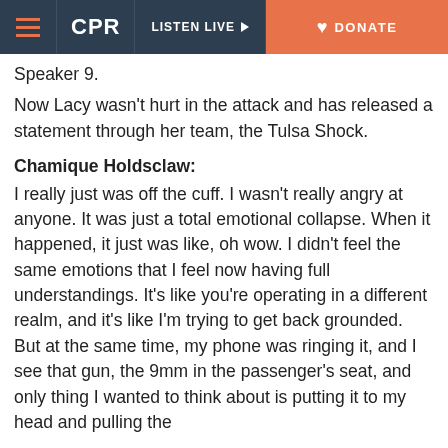CPR | LISTEN LIVE | DONATE
Speaker 9.
Now Lacy wasn't hurt in the attack and has released a statement through her team, the Tulsa Shock.
Chamique Holdsclaw:
I really just was off the cuff. I wasn't really angry at anyone. It was just a total emotional collapse. When it happened, it just was like, oh wow. I didn't feel the same emotions that I feel now having full understandings. It's like you're operating in a different realm, and it's like I'm trying to get back grounded. But at the same time, my phone was ringing it, and I see that gun, the 9mm in the passenger's seat, and only thing I wanted to think about is putting it to my head and pulling the